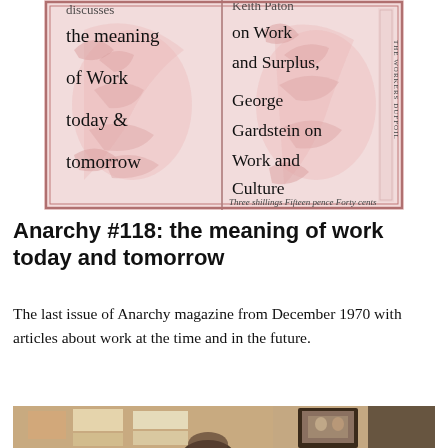[Figure (photo): Cover of Anarchy magazine issue #118, featuring ornate pink/red decorative border illustration with birds and foliage, two-column text layout showing 'discusses the meaning of Work today & tomorrow' on left and 'Keith Paton on Work and Surplus, George Gardstein on Work and Culture' on right, price line at bottom: 'Three shillings Fifteen pence Forty cents']
Anarchy #118: the meaning of work today and tomorrow
The last issue of Anarchy magazine from December 1970 with articles about work at the time and in the future.
[Figure (photo): Partial photo at bottom of page showing a person with curly hair in front of a bulletin board with papers and a framed photograph]